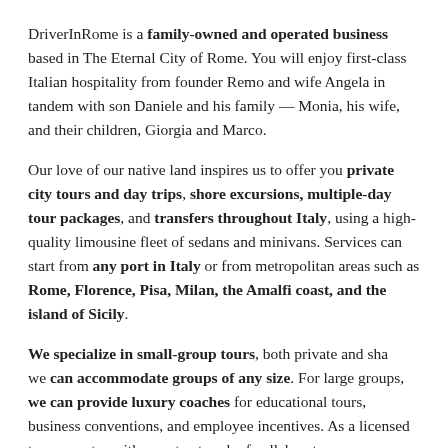DriverInRome is a family-owned and operated business based in The Eternal City of Rome. You will enjoy first-class Italian hospitality from founder Remo and wife Angela in tandem with son Daniele and his family — Monia, his wife, and their children, Giorgia and Marco.
Our love of our native land inspires us to offer you private city tours and day trips, shore excursions, multiple-day tour packages, and transfers throughout Italy, using a high-quality limousine fleet of sedans and minivans. Services can start from any port in Italy or from metropolitan areas such as Rome, Florence, Pisa, Milan, the Amalfi coast, and the island of Sicily.
We specialize in small-group tours, both private and shared, we can accommodate groups of any size. For large groups, we can provide luxury coaches for educational tours, business conventions, and employee incentives. As a licensed tour operator with a vast network of collaborators, we are capable of delivering